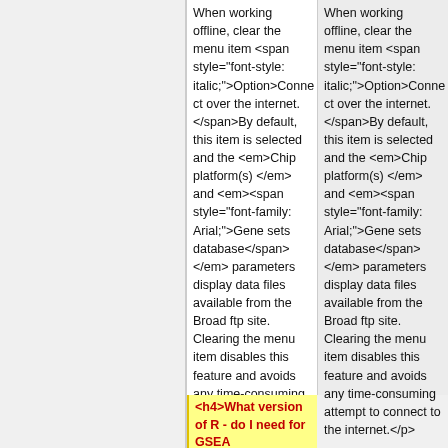When working offline, clear the menu item <span style="font-style: italic;">Option&gt;Connect over the internet.&nbsp;</span>By default, this item is selected and the <em>Chip platform(s)</em> and <em><span style="font-family: Arial;">Gene sets database</span></em> parameters display data files available from the Broad ftp site. Clearing the menu item disables this feature and avoids any time-consuming attempt to connect to the internet.</p>
When working offline, clear the menu item <span style="font-style: italic;">Option&gt;Connect over the internet.&nbsp;</span>By default, this item is selected and the <em>Chip platform(s)</em> and <em><span style="font-family: Arial;">Gene sets database</span></em> parameters display data files available from the Broad ftp site. Clearing the menu item disables this feature and avoids any time-consuming attempt to connect to the internet.</p>
<h4>What version of R - do I need for GSEA